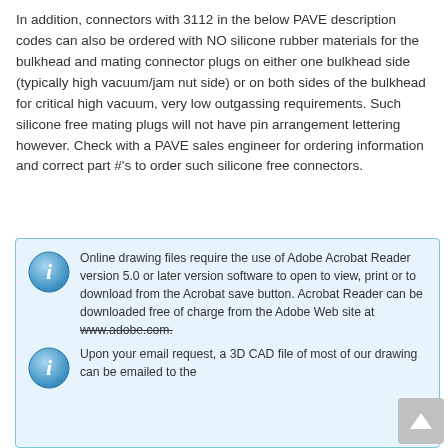In addition, connectors with 3112 in the below PAVE description codes can also be ordered with NO silicone rubber materials for the bulkhead and mating connector plugs on either one bulkhead side (typically high vacuum/jam nut side) or on both sides of the bulkhead for critical high vacuum, very low outgassing requirements. Such silicone free mating plugs will not have pin arrangement lettering however. Check with a PAVE sales engineer for ordering information and correct part #'s to order such silicone free connectors.
Online drawing files require the use of Adobe Acrobat Reader version 5.0 or later version software to open to view, print or to download from the Acrobat save button. Acrobat Reader can be downloaded free of charge from the Adobe Web site at www.adobe.com.
Upon your email request, a 3D CAD file of most of our drawing can be emailed to the